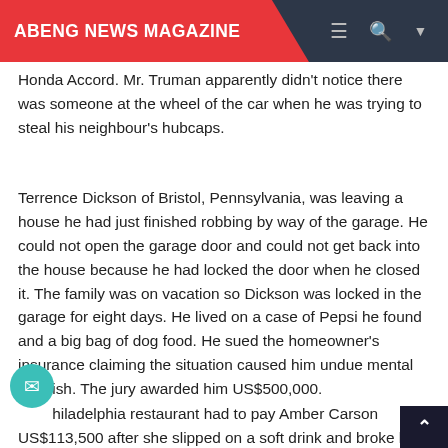ABENG NEWS MAGAZINE
Honda Accord. Mr. Truman apparently didn't notice there was someone at the wheel of the car when he was trying to steal his neighbour's hubcaps.
Terrence Dickson of Bristol, Pennsylvania, was leaving a house he had just finished robbing by way of the garage. He could not open the garage door and could not get back into the house because he had locked the door when he closed it. The family was on vacation so Dickson was locked in the garage for eight days. He lived on a case of Pepsi he found and a big bag of dog food. He sued the homeowner's insurance claiming the situation caused him undue mental anguish. The jury awarded him US$500,000.
A Philadelphia restaurant had to pay Amber Carson US$113,500 after she slipped on a soft drink and broke her coccyx (tailbone). The beverage was on the floor...